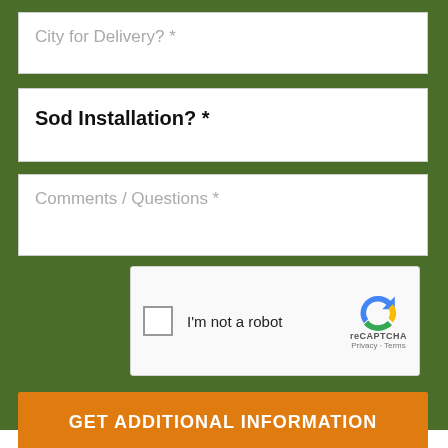City for Delivery? *
Sod Installation? *
Comments / Questions *
[Figure (other): reCAPTCHA widget with checkbox labeled 'I'm not a robot' and Google reCAPTCHA logo with Privacy and Terms links]
GET ADDITIONAL INFORMATION
By submitting, I agree by electronic signature to be contacted by a live agent
About Us
Turf Grass Supplier